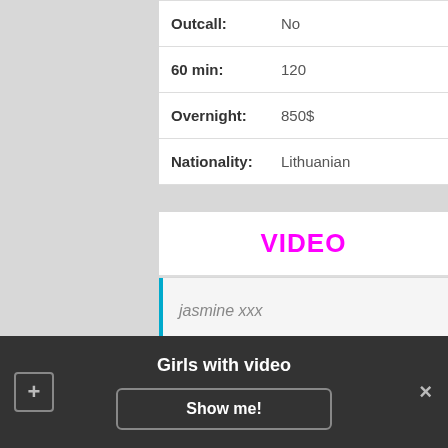| Outcall: | No |
| 60 min: | 120 |
| Overnight: | 850$ |
| Nationality: | Lithuanian |
VIDEO
jasmine xxx
Rosina
[Figure (photo): Partial photo of Rosina, light blue/grey background]
Girls with video
Show me!